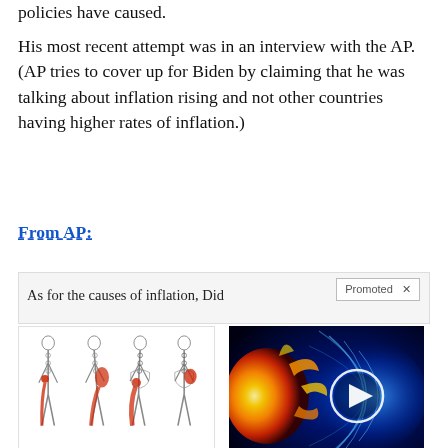policies have caused.
His most recent attempt was in an interview with the AP. (AP tries to cover up for Biden by claiming that he was talking about inflation rising and not other countries having higher rates of inflation.)
From AP:
As for the causes of inflation, Did
[Figure (illustration): Medical illustration showing sciatic nerve pain in human body silhouettes, with red highlighted pain areas along the back and legs]
Are You Struggling With Sciatic Nerve Pain?
3,080
[Figure (photo): Space/solar image showing sun with magnetic field lines and a play button overlay, glowing in orange and blue]
Why You Need This Strange Device When The Grid Goes Down
4,751